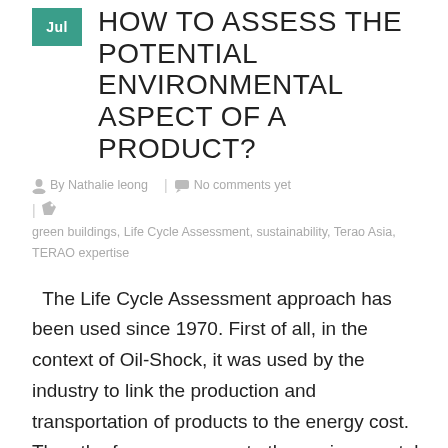HOW TO ASSESS THE POTENTIAL ENVIRONMENTAL ASPECT OF A PRODUCT?
By Nathalie leong | No comments yet | green buildings, Life Cycle Assessment, sustainability, Terao Asia, TERAO expertise
The Life Cycle Assessment approach has been used since 1970. First of all, in the context of Oil-Shock, it was used by the industry to link the production and transportation of products to the energy cost. Then the focus grown up to the environmental